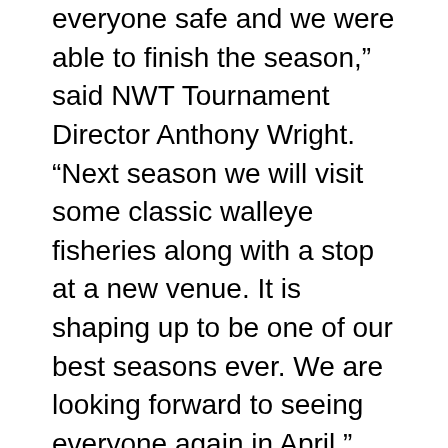everyone safe and we were able to finish the season," said NWT Tournament Director Anthony Wright. "Next season we will visit some classic walleye fisheries along with a stop at a new venue. It is shaping up to be one of our best seasons ever. We are looking forward to seeing everyone again in April."
The NWT has implemented new changes for the 2021 season. Pro- and co-anglers will not be guaranteed entry this season, but rather will gain entry based on time and date of signing up and paying. Those who sign up and pay for all four events at once will gain entry over those who pay incrementally. The deadline to sign up and pay for all entry fees is April 12, 2021.